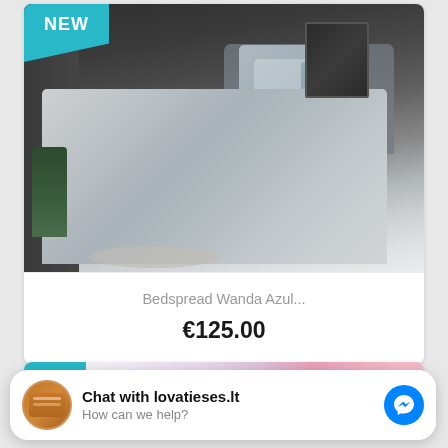[Figure (photo): Bedroom photo showing a gray bedspread on a bed with pillows, dark gray walls, plant decor. Has a 'NEW' teal badge in the top-left corner.]
Bedspread Wanda Azul...
€125.00
[Figure (screenshot): Partial view of a second product card peeking from the bottom, with a teal badge and colorful curtain/textile product photo.]
Chat with lovatieses.lt
How can we help?